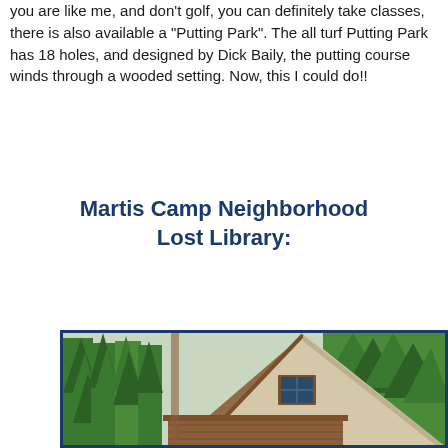you are like me, and don't golf, you can definitely take classes, there is also available a "Putting Park". The all turf Putting Park has 18 holes, and designed by Dick Baily, the putting course winds through a wooded setting. Now, this I could do!!
Martis Camp Neighborhood Lost Library:
[Figure (photo): A-frame style wooden cabin with metal roof, small window in the gable, surrounded by tall evergreen trees. Photo has a dark blue border frame.]